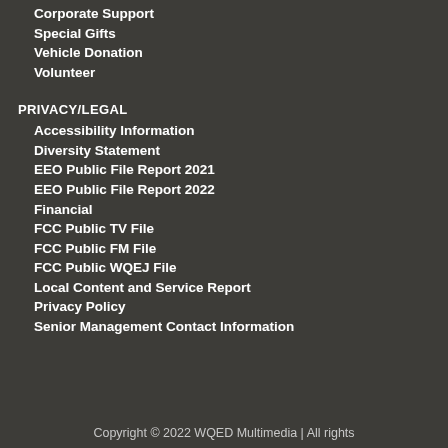Corporate Support
Special Gifts
Vehicle Donation
Volunteer
PRIVACY/LEGAL
Accessibility Information
Diversity Statement
EEO Public File Report 2021
EEO Public File Report 2022
Financial
FCC Public TV File
FCC Public FM File
FCC Public WQEJ File
Local Content and Service Report
Privacy Policy
Senior Management Contact Information
Copyright © 2022 WQED Multimedia | All rights